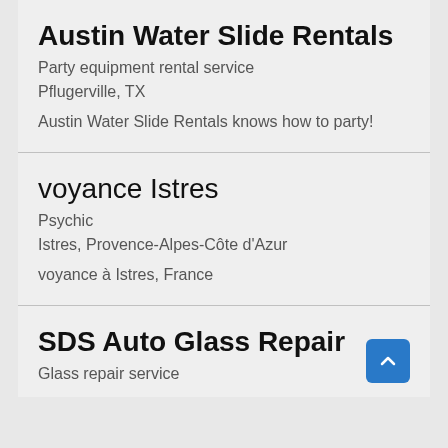Austin Water Slide Rentals
Party equipment rental service
Pflugerville, TX
Austin Water Slide Rentals knows how to party!
voyance Istres
Psychic
Istres, Provence-Alpes-Côte d'Azur
voyance à Istres, France
SDS Auto Glass Repair
Glass repair service